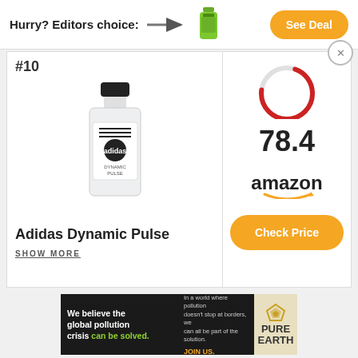Hurry? Editors choice:
[Figure (photo): Green bottle product image in top banner]
See Deal
#10
[Figure (photo): Adidas Dynamic Pulse fragrance/cologne bottle with black cap and white body]
Adidas Dynamic Pulse
SHOW MORE
[Figure (other): Circular score gauge in red/dark showing partial arc, rating display]
78.4
[Figure (logo): Amazon logo with orange smile arrow]
Check Price
[Figure (infographic): Pure Earth advertisement banner: We believe the global pollution crisis can be solved. JOIN US.]